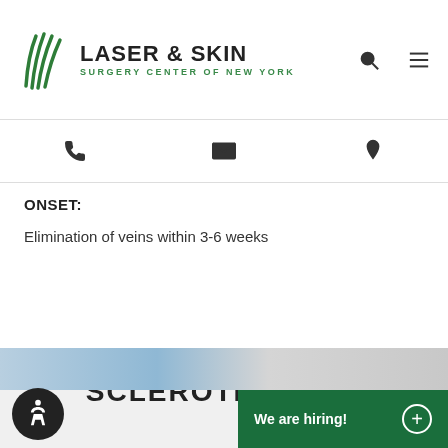LASER & SKIN SURGERY CENTER OF NEW YORK
ONSET:
Elimination of veins within 3-6 weeks
SCLEROTHERAPY
[Figure (photo): Medical procedure photo showing gloved hands treating a patient's leg veins]
We are hiring!